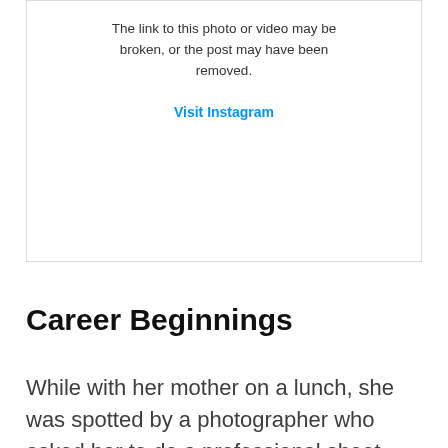[Figure (screenshot): Broken Instagram embed box with text 'The link to this photo or video may be broken, or the post may have been removed.' and a 'Visit Instagram' link in blue.]
Career Beginnings
While with her mother on a lunch, she was spotted by a photographer who asked her to do a professional shoot. Her mother and